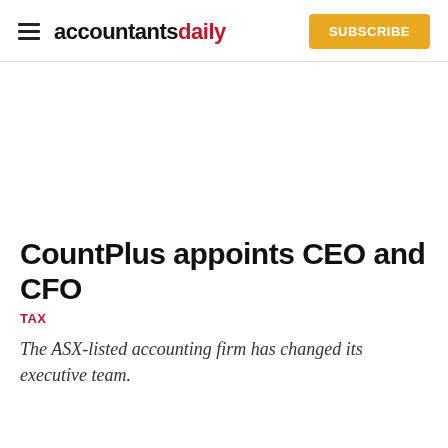accountantsdaily | SUBSCRIBE
CountPlus appoints CEO and CFO
TAX
The ASX-listed accounting firm has changed its executive team.